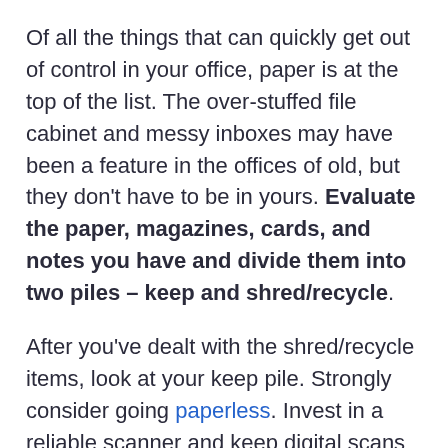Of all the things that can quickly get out of control in your office, paper is at the top of the list. The over-stuffed file cabinet and messy inboxes may have been a feature in the offices of old, but they don't have to be in yours. Evaluate the paper, magazines, cards, and notes you have and divide them into two piles – keep and shred/recycle.
After you've dealt with the shred/recycle items, look at your keep pile. Strongly consider going paperless. Invest in a reliable scanner and keep digital scans of your documents. There are great apps available for storing the files or just download them onto your computer. Learn how to develop a document management system, so you stay organized.